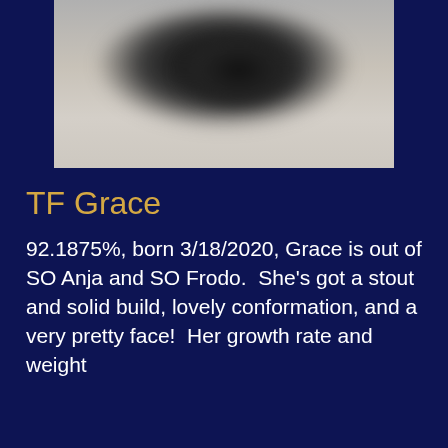[Figure (photo): Blurry photograph of a dark-colored animal (likely a cat or dog) lying on a light beige/tan surface, shown from above. The image is partially cropped at the top.]
TF Grace
92.1875%, born 3/18/2020, Grace is out of SO Anja and SO Frodo.  She's got a stout and solid build, lovely conformation, and a very pretty face!  Her growth rate and weight